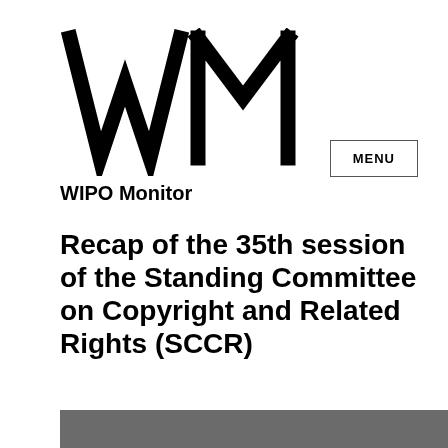[Figure (logo): WM logo — large stylized W and M letters in black serif style]
WIPO Monitor
MENU
Recap of the 35th session of the Standing Committee on Copyright and Related Rights (SCCR)
[Figure (photo): Partial photo strip at bottom of page, dark/grey tones]